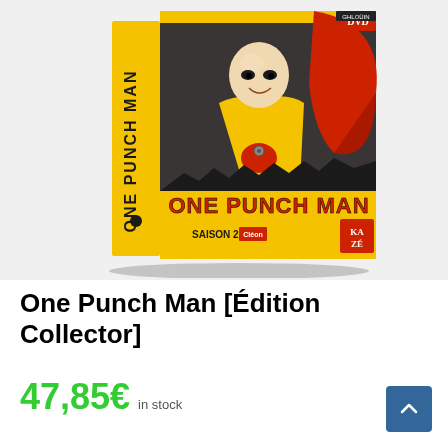[Figure (photo): One Punch Man Édition Collector DVD box set showing anime character Saitama in yellow suit with SAISON 2 label and KAZE/Cléon branding, DVD logo visible on top right corner]
One Punch Man [Édition Collector]
47,85€  in stock